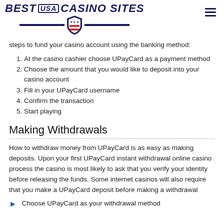BEST USA CASINO SITES
steps to fund your casino account using the banking method:
At the casino cashier choose UPayCard as a payment method
Choose the amount that you would like to deposit into your casino account
Fill in your UPayCard username
Confirm the transaction
Start playing
Making Withdrawals
How to withdraw money from UPayCard is as easy as making deposits. Upon your first UPayCard instant withdrawal online casino process the casino is most likely to ask that you verify your identity before releasing the funds. Some internet casinos will also require that you make a UPayCard deposit before making a withdrawal
Choose UPayCard as your withdrawal method